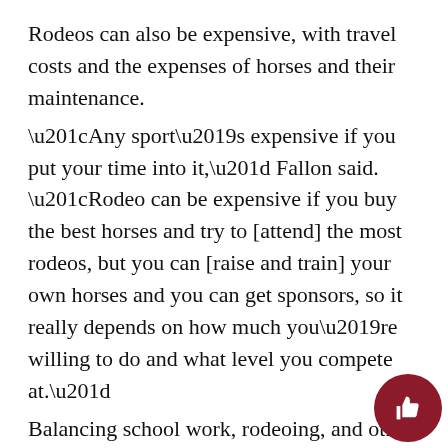Rodeos can also be expensive, with travel costs and the expenses of horses and their maintenance.
“Any sport’s expensive if you put your time into it,” Fallon said. “Rodeo can be expensive if you buy the best horses and try to [attend] the most rodeos, but you can [raise and train] your own horses and you can get sponsors, so it really depends on how much you’re willing to do and what level you compete at.”
Balancing school work, rodeoing, and other sports often proves challenging for Kade and Fallon. Since they miss a lot of school to compete, they have to make sure they stay caught up.
“Academics is a huge part of rodeo,” Fallon said. “For NHSRA, you have to submit your grades, and if you don’t’ have good grades, you can’t rodeo. It’s all about organization [and time management].”
Their hard work has paid off. Fallon holds multiple state titles, including three-time state champ in barrel racing and